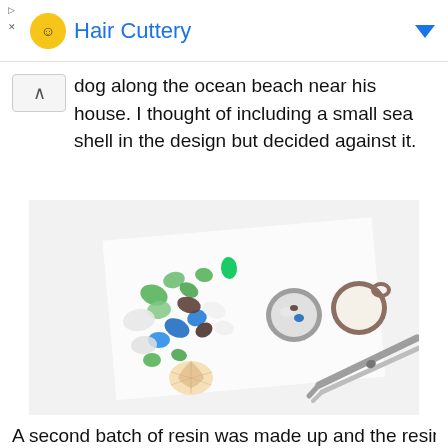Hair Cuttery
dog along the ocean beach near his house. I thought of including a small sea shell in the design but decided against it.
[Figure (photo): Craft materials laid out on white surface: colorful sea glass pieces (green, blue, white, brown), a small seashell, two circular metal pendant bezels (one silver, one brass/gold), and a pair of metal tweezers/forceps.]
A second batch of resin was made up and the resin